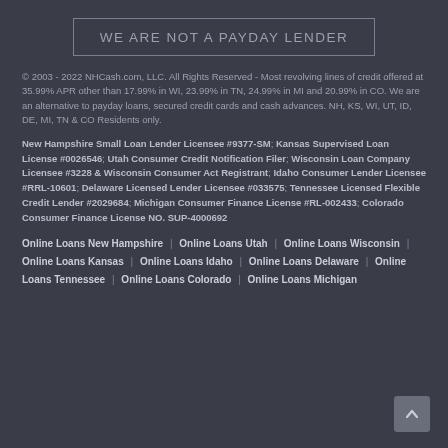WE ARE NOT A PAYDAY LENDER
© 2003 - 2022 NHCash.com, LLC. All Rights Reserved - Most revolving lines of credit offered at 35.99% APR other than 17.99% in WI, 23.99% in TN, 24.99% in MI and 20.99% in CO. We are an alternative to payday loans, secured credit cards and cash advances. NH, KS, WI, UT, ID, DE, MI, TN & CO Residents only.
New Hampshire Small Loan Lender Licensee #9377-SM; Kansas Supervised Loan License #0026546; Utah Consumer Credit Notification Filer; Wisconsin Loan Company Licensee #3228 & Wisconsin Consumer Act Registrant; Idaho Consumer Lender Licensee #RRL-10601; Delaware Licensed Lender Licensee #033575; Tennessee Licensed Flexible Credit Lender #2029684; Michigan Consumer Finance License #RL-002433; Colorado Consumer Finance License NO. SUP-4000692
Online Loans New Hampshire | Online Loans Utah | Online Loans Wisconsin | Online Loans Kansas | Online Loans Idaho | Online Loans Delaware | Online Loans Tennessee | Online Loans Colorado | Online Loans Michigan